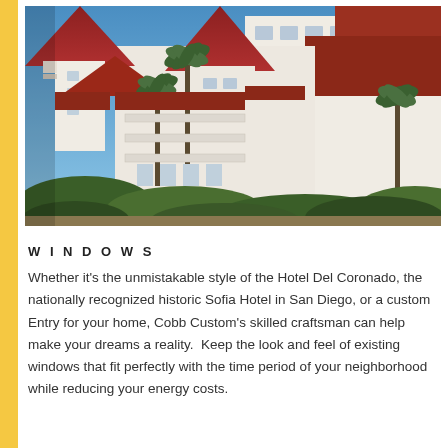[Figure (photo): Exterior photograph of a historic Victorian-style hotel building with distinctive red cone-shaped turret roofs, white facades, ornate architectural details, and palm trees against a blue sky. This appears to be the Hotel Del Coronado in San Diego, California.]
WINDOWS
Whether it's the unmistakable style of the Hotel Del Coronado, the nationally recognized historic Sofia Hotel in San Diego, or a custom Entry for your home, Cobb Custom's skilled craftsman can help make your dreams a reality.  Keep the look and feel of existing windows that fit perfectly with the time period of your neighborhood while reducing your energy costs.